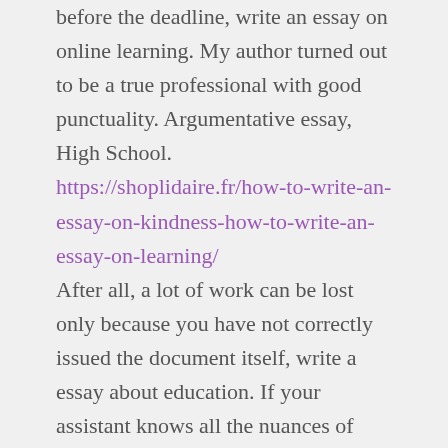before the deadline, write an essay on online learning. My author turned out to be a true professional with good punctuality. Argumentative essay, High School. https://shoplidaire.fr/how-to-write-an-essay-on-kindness-how-to-write-an-essay-on-learning/ After all, a lot of work can be lost only because you have not correctly issued the document itself, write a essay about education. If your assistant knows all the nuances of material design, and essay help is not too difficult for a professional, then the end result will be excellent. And most importantly, I